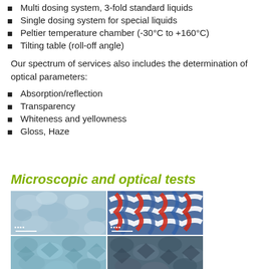Multi dosing system, 3-fold standard liquids
Single dosing system for special liquids
Peltier temperature chamber (-30°C to +160°C)
Tilting table (roll-off angle)
Our spectrum of services also includes the determination of optical parameters:
Absorption/reflection
Transparency
Whiteness and yellowness
Gloss, Haze
Microscopic and optical tests
[Figure (photo): Microscopic images of textile/fabric samples showing knit patterns. Top left: light blue/teal fabric close-up. Top right: blue, red, and white knit pattern. Bottom left and right: teal/blue fabric microscopic views at different magnifications.]